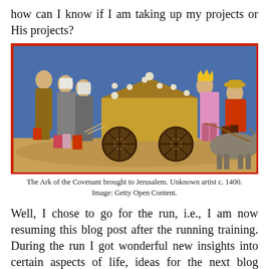how can I know if I am taking up my projects or His projects?
[Figure (illustration): Medieval illuminated manuscript illustration showing the Ark of the Covenant being brought to Jerusalem on a cart pulled by oxen, with robed figures including a crowned king. Unknown artist c. 1400. Image: Getty Open Content.]
The Ark of the Covenant brought to Jerusalem. Unknown artist c. 1400. Image: Getty Open Content.
Well, I chose to go for the run, i.e., I am now resuming this blog post after the running training. During the run I got wonderful new insights into certain aspects of life, ideas for the next blog posts! … this will turn into some